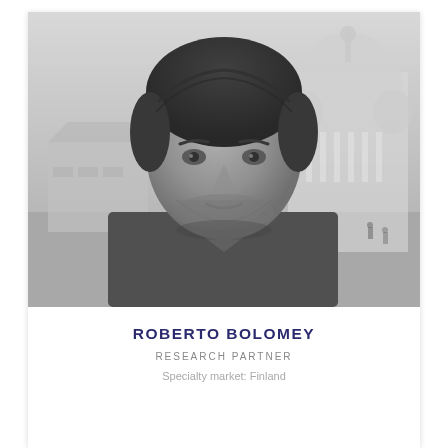[Figure (photo): Black and white portrait photo of Roberto Bolomey, a middle-aged man with dark hair, light stubble, looking slightly to the side. Background shows a European cityscape with a large domed cathedral (Helsinki Cathedral) and city square.]
ROBERTO BOLOMEY
RESEARCH PARTNER
Specialty market: Finland